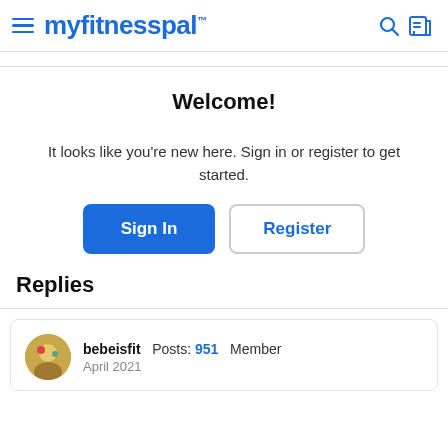myfitnesspal
Welcome!
It looks like you're new here. Sign in or register to get started.
Sign In  Register
Replies
bebeisfit  Posts: 951  Member  April 2021